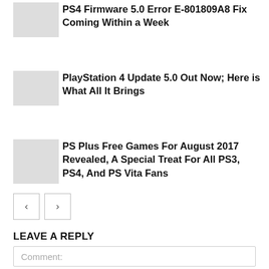PS4 Firmware 5.0 Error E-801809A8 Fix Coming Within a Week
PlayStation 4 Update 5.0 Out Now; Here is What All It Brings
PS Plus Free Games For August 2017 Revealed, A Special Treat For All PS3, PS4, And PS Vita Fans
LEAVE A REPLY
Comment: